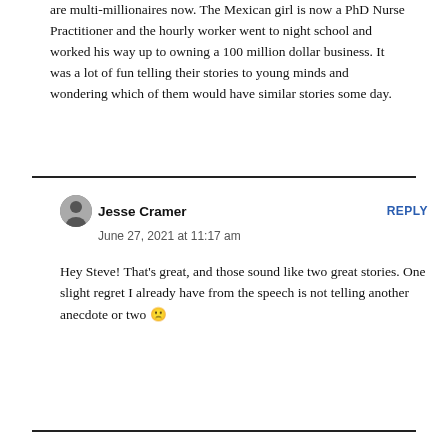are multi-millionaires now. The Mexican girl is now a PhD Nurse Practitioner and the hourly worker went to night school and worked his way up to owning a 100 million dollar business. It was a lot of fun telling their stories to young minds and wondering which of them would have similar stories some day.
Jesse Cramer
June 27, 2021 at 11:17 am

Hey Steve! That's great, and those sound like two great stories. One slight regret I already have from the speech is not telling another anecdote or two 🙁